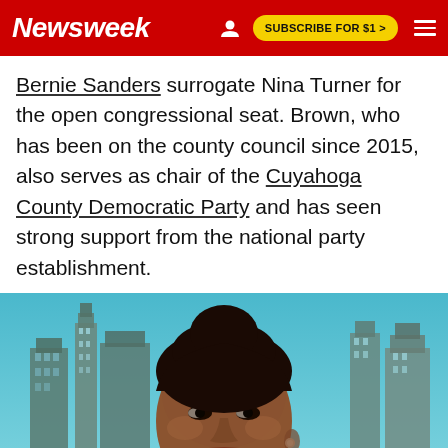Newsweek | SUBSCRIBE FOR $1 >
Bernie Sanders surrogate Nina Turner for the open congressional seat. Brown, who has been on the county council since 2015, also serves as chair of the Cuyahoga County Democratic Party and has seen strong support from the national party establishment.
[Figure (photo): Photo of a smiling Black woman with braided hair pulled up, wearing a pearl earring, with a city skyline and teal sky in the background.]